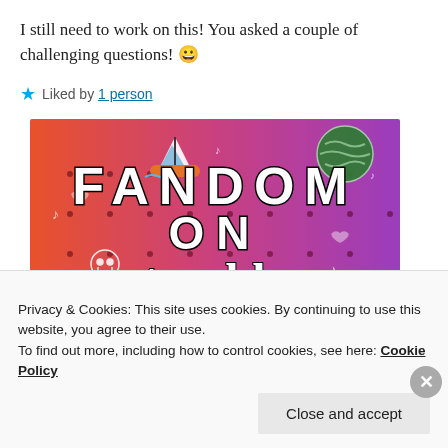I still need to work on this! You asked a couple of challenging questions! 😀
★ Liked by 1 person
[Figure (photo): Fandom on Tumblr promotional image with colorful orange-to-purple gradient background, white doodles/icons, and large bold text reading FANDOM ON tumblr]
Privacy & Cookies: This site uses cookies. By continuing to use this website, you agree to their use.
To find out more, including how to control cookies, see here: Cookie Policy
Close and accept